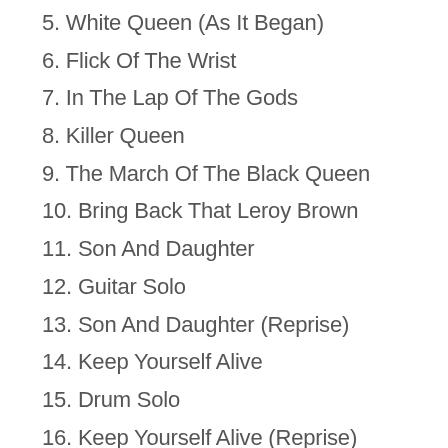5. White Queen (As It Began)
6. Flick Of The Wrist
7. In The Lap Of The Gods
8. Killer Queen
9. The March Of The Black Queen
10. Bring Back That Leroy Brown
11. Son And Daughter
12. Guitar Solo
13. Son And Daughter (Reprise)
14. Keep Yourself Alive
15. Drum Solo
16. Keep Yourself Alive (Reprise)
17. Seven Seas Of Rhye
18. Stone Cold Crazy
19. Liar